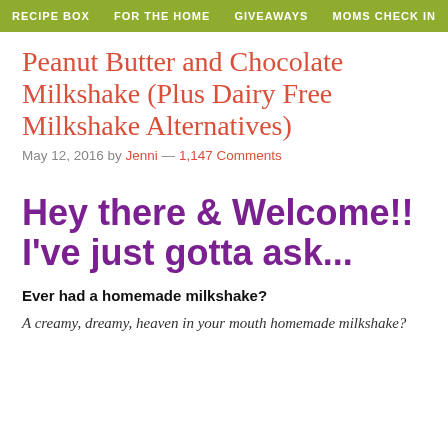RECIPE BOX   FOR THE HOME   GIVEAWAYS   MOMS CHECK IN
Peanut Butter and Chocolate Milkshake (Plus Dairy Free Milkshake Alternatives)
May 12, 2016 by Jenni — 1,147 Comments
Hey there & Welcome!! I've just gotta ask...
Ever had a homemade milkshake?
A creamy, dreamy, heaven in your mouth homemade milkshake?